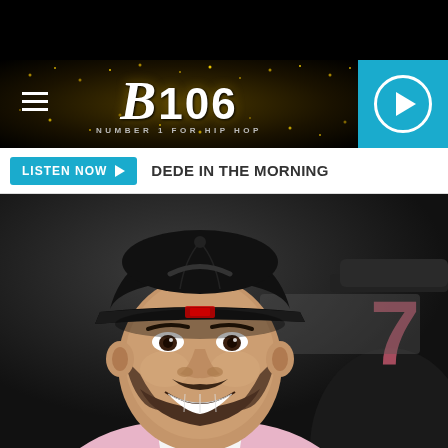B106 - NUMBER 1 FOR HIP HOP
LISTEN NOW  DEDE IN THE MORNING
[Figure (photo): Close-up photo of a young man smiling, wearing a black snapback cap, with a beard, at what appears to be an event. A partial view of another person in a hat is visible to the right. Pink and gray signage visible in background.]